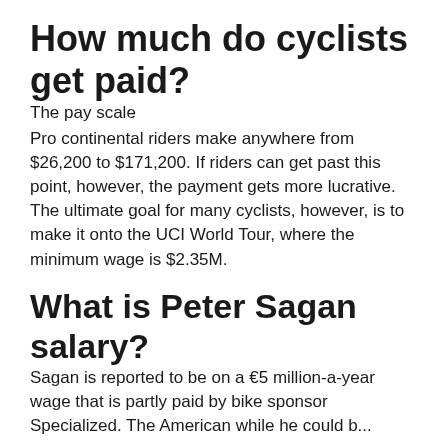How much do cyclists get paid?
The pay scale
Pro continental riders make anywhere from $26,200 to $171,200. If riders can get past this point, however, the payment gets more lucrative. The ultimate goal for many cyclists, however, is to make it onto the UCI World Tour, where the minimum wage is $2.35M.
What is Peter Sagan salary?
Sagan is reported to be on a €5 million-a-year wage that is partly paid by bike sponsor Specialized. The Americanwhile he could b...